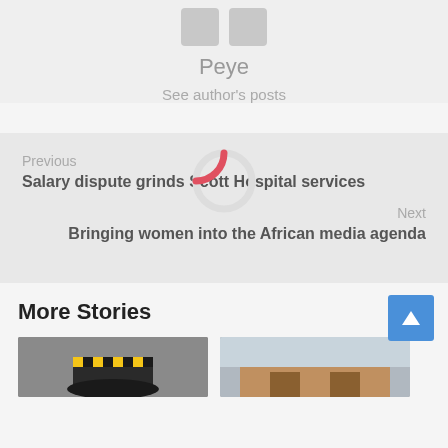Peye
See author's posts
Previous
Salary dispute grinds Scott Hospital services
Next
Bringing women into the African media agenda
More Stories
[Figure (photo): Thumbnail image of police officer with checkered hat]
[Figure (photo): Thumbnail image of building exterior]